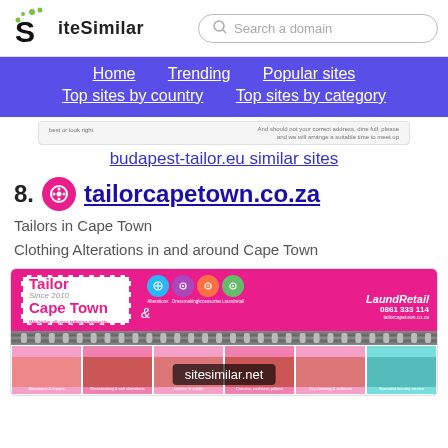SiteSimilar — Search a domain — Home | Trending | Popular sites | Top sites by country | Top sites by category
[Figure (screenshot): Small screenshot preview of budapest-tailor.eu website]
budapest-tailor.eu similar sites
8. tailorcapetown.co.za — Tailors in Cape Town
Clothing Alterations in and around Cape Town
[Figure (screenshot): Screenshot of tailorcapetown.co.za website showing Tailor Cape Town & LaundRetail banner with phone 0861 333 114 and sitesimilar.net watermark]